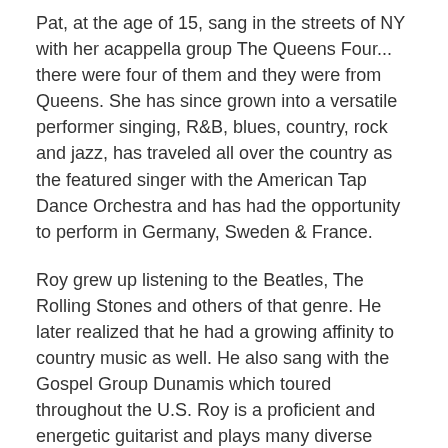Pat, at the age of 15, sang in the streets of NY with her acappella group The Queens Four... there were four of them and they were from Queens. She has since grown into a versatile performer singing, R&B, blues, country, rock and jazz, has traveled all over the country as the featured singer with the American Tap Dance Orchestra and has had the opportunity to perform in Germany, Sweden & France.
Roy grew up listening to the Beatles, The Rolling Stones and others of that genre. He later realized that he had a growing affinity to country music as well. He also sang with the Gospel Group Dunamis which toured throughout the U.S. Roy is a proficient and energetic guitarist and plays many diverse styles - rock, pop, jazz, blues, R&B, country with his own special "flavor".